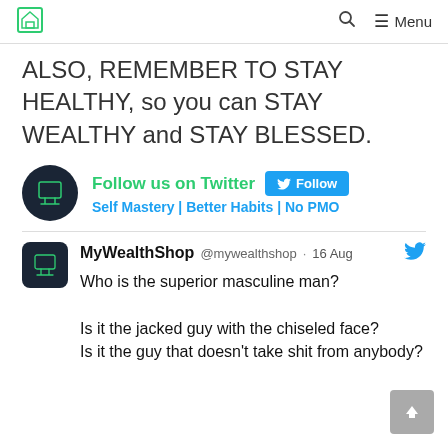Home | Search | Menu
ALSO, REMEMBER TO STAY HEALTHY, so you can STAY WEALTHY and STAY BLESSED.
[Figure (other): Twitter Follow widget showing MyWealthShop account with green logo avatar, Follow us on Twitter text, blue Follow button, and tagline: Self Mastery | Better Habits | No PMO]
MyWealthShop @mywealthshop · 16 Aug
Who is the superior masculine man?

Is it the jacked guy with the chiseled face?
Is it the guy that doesn't take shit from anybody?